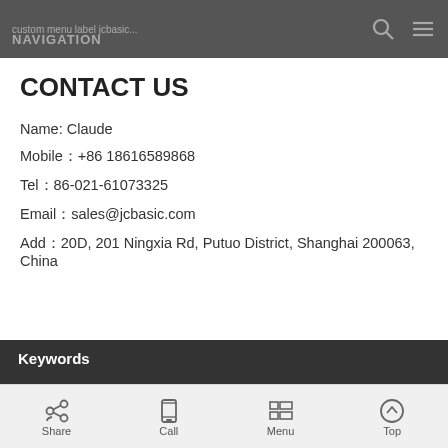custom menu label jcbasic... NAVIGATION
CONTACT US
Name: Claude
Mobile：+86 18616589868
Tel：86-021-61073325
Email：sales@jcbasic.com
Add：20D, 201 Ningxia Rd, Putuo District, Shanghai 200063, China
Keywords
Share  Call  Menu  Top